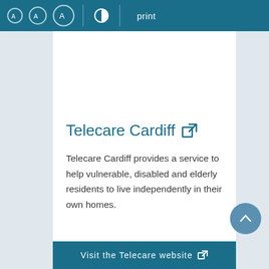Accessibility toolbar with text size controls, contrast toggle, and print option
Telecare Cardiff
Telecare Cardiff provides a service to help vulnerable, disabled and elderly residents to live independently in their own homes.
Visit the Telecare website